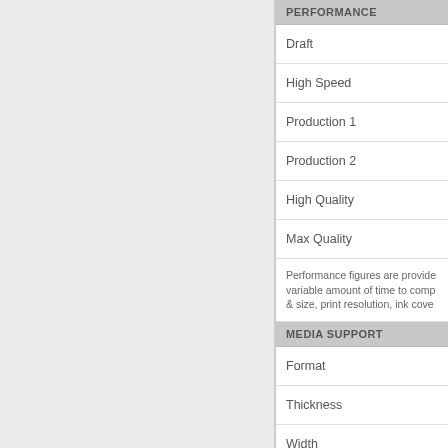PERFORMANCE
Draft
High Speed
Production 1
Production 2
High Quality
Max Quality
Performance figures are provided variable amount of time to comp & size, print resolution, ink cove
MEDIA SUPPORT
Format
Thickness
Width
Margins
Loading